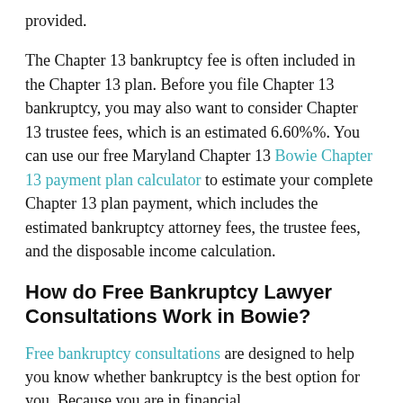provided.
The Chapter 13 bankruptcy fee is often included in the Chapter 13 plan. Before you file Chapter 13 bankruptcy, you may also want to consider Chapter 13 trustee fees, which is an estimated 6.60%%. You can use our free Maryland Chapter 13 Bowie Chapter 13 payment plan calculator to estimate your complete Chapter 13 plan payment, which includes the estimated bankruptcy attorney fees, the trustee fees, and the disposable income calculation.
How do Free Bankruptcy Lawyer Consultations Work in Bowie?
Free bankruptcy consultations are designed to help you know whether bankruptcy is the best option for you. Because you are in financial